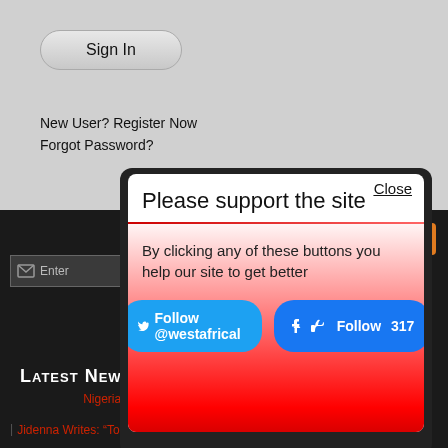Sign In
New User? Register Now
Forgot Password?
[Figure (screenshot): Modal popup with 'Please support the site' heading, description text, Twitter Follow @westafrical button, and Facebook Follow 317 button, with red gradient background below divider.]
Latest News
Nigerian Emojis Make Their Debut Through New App
15 March 2016 at 22 : 28 PM
| Jidenna Writes: "To all my Nigerian brothers and sisters"
28 July 2015 at 01 : 53 AM
| Adefashion.com Taking African Fashion International